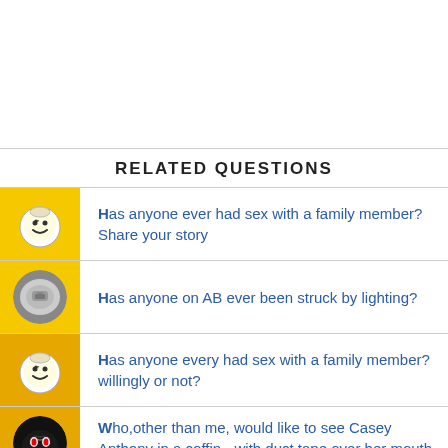RELATED QUESTIONS
Has anyone ever had sex with a family member? Share your story
Has anyone on AB ever been struck by lighting?
Has anyone every had sex with a family member? willingly or not?
Who,other than me, would like to see Casey Anthony in a coffin - with duct tape over her mouth